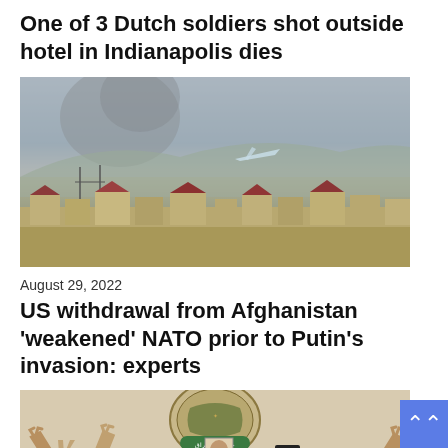One of 3 Dutch soldiers shot outside hotel in Indianapolis dies
[Figure (photo): Aerial view of Kabul with smoke rising in the background and buildings in foreground, plane visible in sky]
August 29, 2022
US withdrawal from Afghanistan 'weakened' NATO prior to Putin's invasion: experts
[Figure (photo): Crowd of people with arms raised making peace signs, Iraqi flag emblem visible in background, someone holding a portrait]